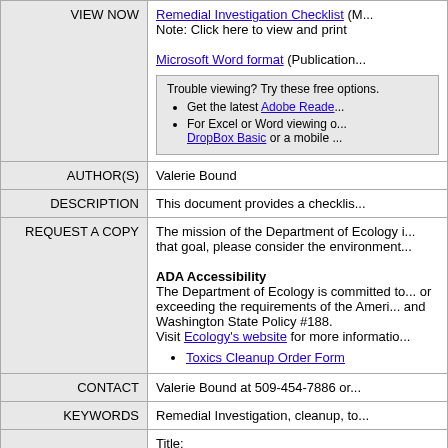| Label | Content |
| --- | --- |
| VIEW NOW | Remedial Investigation Checklist (N...
Note: Click here to view and print

Microsoft Word format (Publication...

Trouble viewing? Try these free options.
• Get the latest Adobe Reade...
• For Excel or Word viewing o... DropBox Basic or a mobile... |
| AUTHOR(S) | Valerie Bound |
| DESCRIPTION | This document provides a checklis... |
| REQUEST A COPY | The mission of the Department of Ecology i... that goal, please consider the environment...

ADA Accessibility
The Department of Ecology is committed to... or exceeding the requirements of the Ameri... and Washington State Policy #188.
Visit Ecology's website for more informatio...
• Toxics Cleanup Order Form |
| CONTACT | Valerie Bound at 509-454-7886 or... |
| KEYWORDS | Remedial Investigation, cleanup, to... |
|  | Title: |